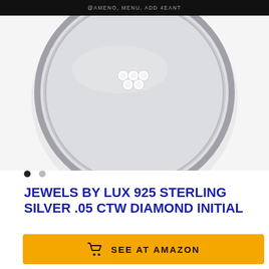@AMENO, MENU, ADD 4EANT
[Figure (photo): Close-up of a round sterling silver pendant with diamond initial, showing sparkly gemstones arranged on a brushed silver disk with a polished border.]
JEWELS BY LUX 925 STERLING SILVER .05 CTW DIAMOND INITIAL
SEE AT AMAZON